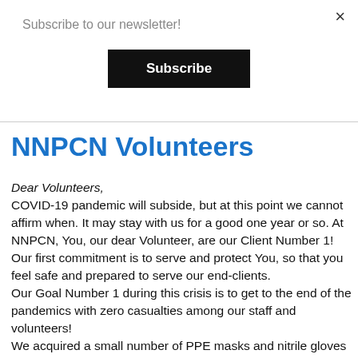Subscribe to our newsletter!
Subscribe
NNPCN Volunteers
Dear Volunteers,
COVID-19 pandemic will subside, but at this point we cannot affirm when. It may stay with us for a good one year or so. At NNPCN, You, our dear Volunteer, are our Client Number 1!
Our first commitment is to serve and protect You, so that you feel safe and prepared to serve our end-clients.
Our Goal Number 1 during this crisis is to get to the end of the pandemics with zero casualties among our staff and volunteers!
We acquired a small number of PPE masks and nitrile gloves that are now available to our volunteers, for your protection.